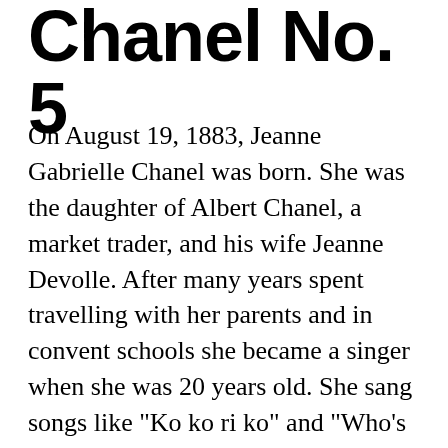Chanel No. 5
On August 19, 1883, Jeanne Gabrielle Chanel was born. She was the daughter of Albert Chanel, a market trader, and his wife Jeanne Devolle. After many years spent travelling with her parents and in convent schools she became a singer when she was 20 years old. She sang songs like "Ko ko ri ko" and "Who's seen Coco in the Trocadero?", which made her known as "Coco", a nickname she kept for all her life. When her singing career didn't take off, she started sewing for various people and taking an interest in fashion. She started to make clothing which she sold in her own shop in Deauville. Due to the success of this shop and some